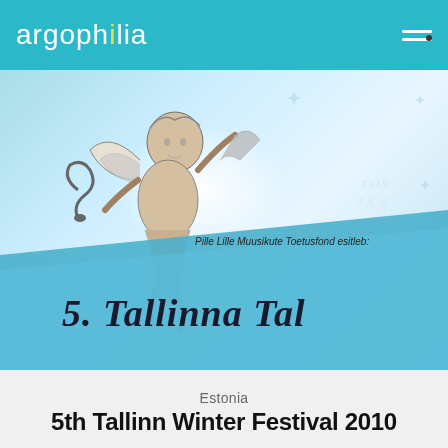argophilia
[Figure (illustration): Banner image featuring a classical cherub/angel illustration on left side against a light blue sky background with sparkle decorations. Contains text 'Pille Lille Muusikute Toetusfond esitleb:' and partially visible Gothic/blackletter text '5. Tallinna Tal...' on a diagonal blue wedge. Right side shows partial text 'TÖS' and 'JA A' in decorative lettering.]
Estonia
5th Tallinn Winter Festival 2010